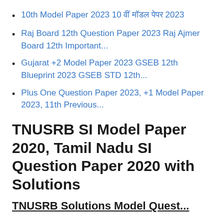10th Model Paper 2023 10 वीं मॉडल पेपर 2023
Raj Board 12th Question Paper 2023 Raj Ajmer Board 12th Important...
Gujarat +2 Model Paper 2023 GSEB 12th Blueprint 2023 GSEB STD 12th...
Plus One Question Paper 2023, +1 Model Paper 2023, 11th Previous...
TNUSRB SI Model Paper 2020, Tamil Nadu SI Question Paper 2020 with Solutions
TNUSRB Solutions Model Quest...